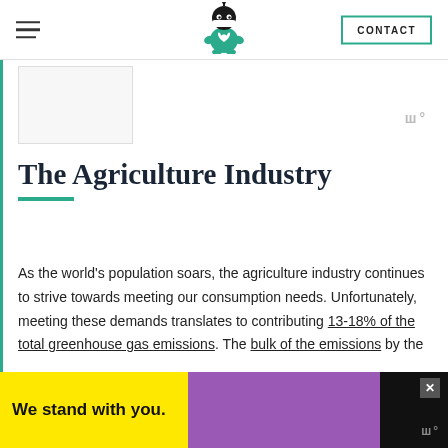CONTACT
The Agriculture Industry
As the world’s population soars, the agriculture industry continues to strive towards meeting our consumption needs. Unfortunately, meeting these demands translates to contributing 13-18% of the total greenhouse gas emissions. The bulk of the emissions by the